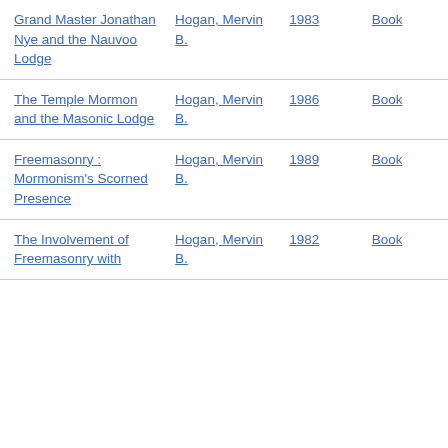| Title | Author | Year | Type |
| --- | --- | --- | --- |
| Grand Master Jonathan Nye and the Nauvoo Lodge | Hogan, Mervin B. | 1983 | Book |
| The Temple Mormon and the Masonic Lodge | Hogan, Mervin B. | 1986 | Book |
| Freemasonry : Mormonism's Scorned Presence | Hogan, Mervin B. | 1989 | Book |
| The Involvement of Freemasonry with... | Hogan, Mervin B. | 1982 | Book |